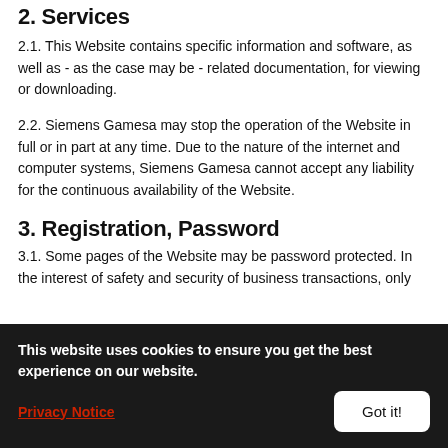2. Services
2.1. This Website contains specific information and software, as well as - as the case may be - related documentation, for viewing or downloading.
2.2. Siemens Gamesa may stop the operation of the Website in full or in part at any time. Due to the nature of the internet and computer systems, Siemens Gamesa cannot accept any liability for the continuous availability of the Website.
3. Registration, Password
3.1. Some pages of the Website may be password protected. In the interest of safety and security of business transactions, only
This website uses cookies to ensure you get the best experience on our website.
Privacy Notice
Got it!